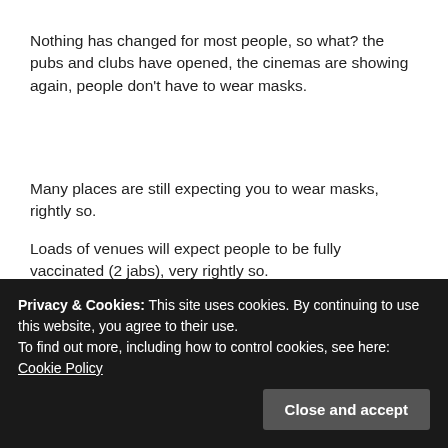Nothing has changed for most people, so what? the pubs and clubs have opened, the cinemas are showing again, people don't have to wear masks.
Many places are still expecting you to wear masks, rightly so.
Loads of venues will expect people to be fully vaccinated (2 jabs), very rightly so.
To be totally honest, the way things are going again, and the lifting of “restrictions” are just going to make things worse, the government have lost a lot of income, that’s why the restrictions are ending, they need the economy to recover.
There are 2 types of people, many will carry on the way they
Privacy & Cookies: This site uses cookies. By continuing to use this website, you agree to their use.
To find out more, including how to control cookies, see here: Cookie Policy
theorists will still have something to say.